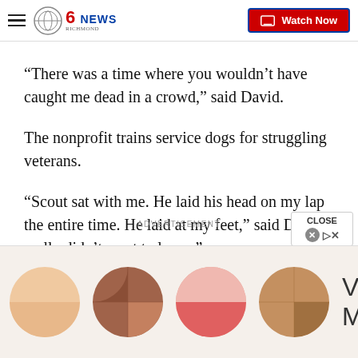CBS 6 News Richmond — Watch Now
“There was a time where you wouldn’t have caught me dead in a crowd,” said David.
The nonprofit trains service dogs for struggling veterans.
“Scout sat with me. He laid his head on my lap the entire time. He laid at my feet,” said David. “I really didn’t want to leave.”
ADVERTISEMENT
[Figure (photo): Voci Medspa advertisement banner showing four circular makeup/blush palette swatches in peach, mauve/brown, coral/pink, and tan tones, with the text 'Voci Medspa' to the right.]